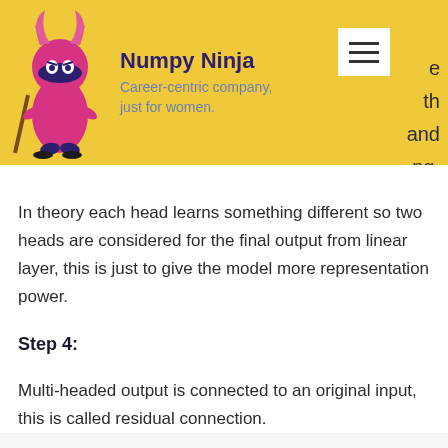[Figure (logo): Numpy Ninja logo: a pink/magenta ninja owl character holding a staff, on a yellow background]
Numpy Ninja
Career-centric company, just for women.
...e ...th ...and ...ng.
In theory each head learns something different so two heads are considered for the final output from linear layer, this is just to give the model more representation power.
Step 4:
Multi-headed output is connected to an original input, this is called residual connection.